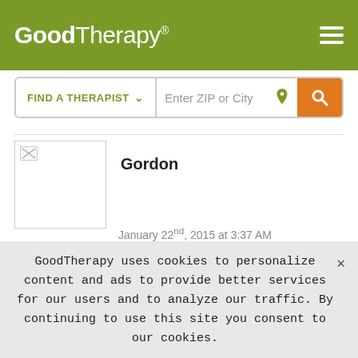GoodTherapy®
[Figure (screenshot): GoodTherapy website header with logo and hamburger menu on olive-green background, with Find a Therapist search bar below]
Gordon
January 22nd, 2015 at 3:37 AM
I would say that a good bit of the time our brain is giving us these warning signals but for some reason, we just choose too ignore them.
What's up with that? Our body is equipped to sniff out these emotional dangers and yet we still think that we know best
GoodTherapy uses cookies to personalize content and ads to provide better services for our users and to analyze our traffic. By continuing to use this site you consent to our cookies.